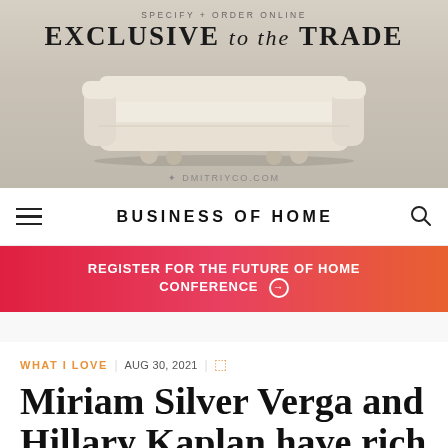[Figure (illustration): Advertisement banner for Dmitriy & Co. featuring a cream/beige upholstered daybed sofa against a warm neutral background. Top text reads 'SPECIFY + ORDER ONLINE' and 'EXCLUSIVE to the TRADE'. Bottom shows 'DMITRIYCO.COM'.]
BUSINESS OF HOME
REGISTER FOR THE FUTURE OF HOME CONFERENCE →
WHAT I LOVE | AUG 30, 2021 |
Miriam Silver Verga and Hillary Kaplan have rich